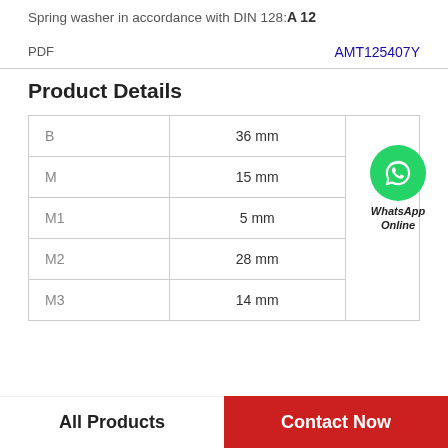Spring washer in accordance with DIN 128: A 12
PDF    AMT125407Y
Product Details
| Parameter | Value |
| --- | --- |
| B | 36 mm |
| M | 15 mm |
| M1 | 5 mm |
| M2 | 28 mm |
| M3 | 14 mm |
[Figure (logo): WhatsApp Online green phone icon with text 'WhatsApp Online']
All Products
Contact Now